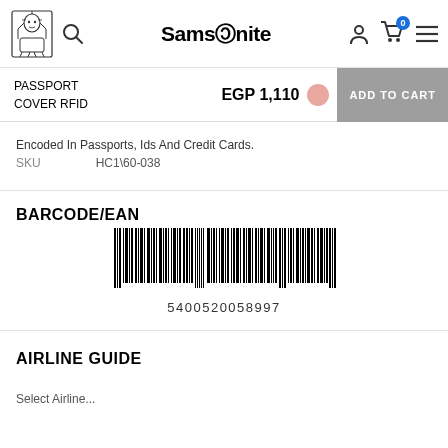Samsonite — Search, Account, Cart (0), Menu
PASSPORT COVER RFID — EGP 1,110 — ADD TO CART
Encoded In Passports, Ids And Credit Cards.
SKU    HC1\60-038
BARCODE/EAN
[Figure (other): EAN barcode with number 5400520058997]
AIRLINE GUIDE